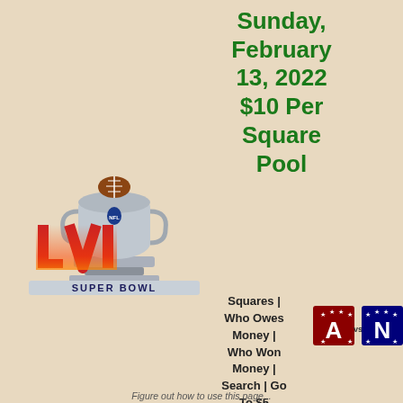Sunday, February 13, 2022 $10 Per Square Pool
[Figure (logo): Super Bowl LVI logo with silver trophy and red/blue LVI letters on pedestal with 'SUPER BOWL' text]
Squares | Who Owes Money | Who Won Money | Search | Go To $5 Squares
[Figure (logo): AFC (red A with stars) vs NFC (blue N with stars) conference logos side by side]
Figure out how to use this page...